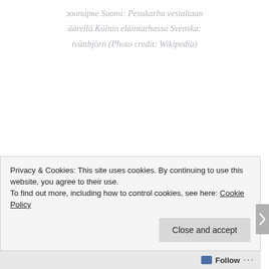зоопарке Suomi: Pesukarhu vesialtaan äärellä Kölnin eläintarhassa Svenska: tvättbjörn (Photo credit: Wikipedia)
Wildlife conflicts cause a lot of damage every year for property owners .This can be very frustrating for all concerned. Technicians are trained in true Bat Squirrel Raccoon and Wildlife
Privacy & Cookies: This site uses cookies. By continuing to use this website, you agree to their use.
To find out more, including how to control cookies, see here: Cookie Policy
Close and accept
Follow